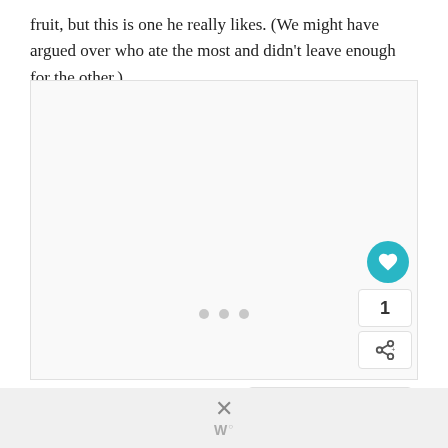fruit, but this is one he really likes. (We might have argued over who ate the most and didn't leave enough for the other.)
[Figure (photo): A large image placeholder box with a light gray background. Three gray dots appear near the bottom center, indicating a slideshow or carousel. UI overlay elements including a teal heart/like button, a like count of 1, a share button, and a 'What's Next' panel showing 'Shaved Radish,...' with a decorative circular thumbnail, plus an upload button.]
[Figure (screenshot): Bottom bar of a webpage/app interface showing an X close button and a 'W' wordmark logo with superscript circle-p symbol, suggesting an advertisement close button.]